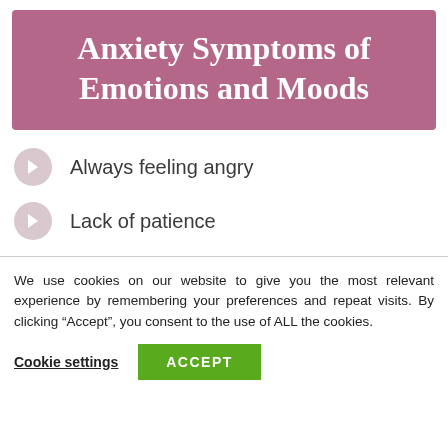Anxiety Symptoms of Emotions and Moods
Always feeling angry
Lack of patience
We use cookies on our website to give you the most relevant experience by remembering your preferences and repeat visits. By clicking “Accept”, you consent to the use of ALL the cookies.
Cookie settings
ACCEPT